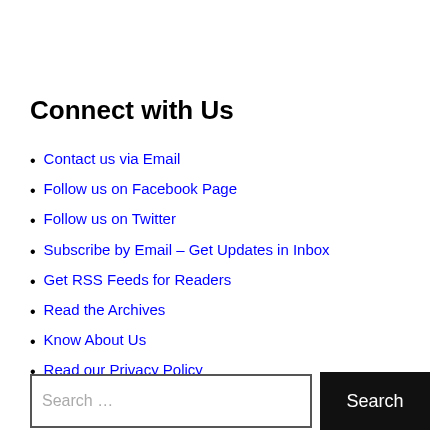Connect with Us
Contact us via Email
Follow us on Facebook Page
Follow us on Twitter
Subscribe by Email – Get Updates in Inbox
Get RSS Feeds for Readers
Read the Archives
Know About Us
Read our Privacy Policy